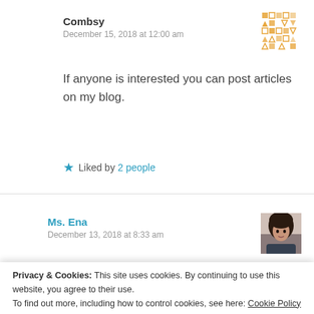Combsy
December 15, 2018 at 12:00 am
[Figure (illustration): Decorative pixel/geometric pattern avatar in orange/gold colors]
If anyone is interested you can post articles on my blog.
★ Liked by 2 people
Ms. Ena
December 13, 2018 at 8:33 am
[Figure (photo): Photo of a woman with dark hair]
Privacy & Cookies: This site uses cookies. By continuing to use this website, you agree to their use. To find out more, including how to control cookies, see here: Cookie Policy
Close and accept